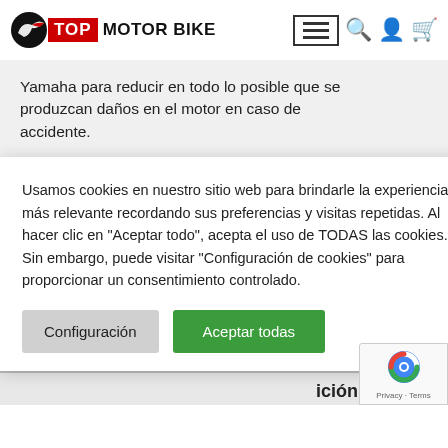TOP MOTOR BIKE
Yamaha para reducir en todo lo posible que se produzcan daños en el motor en caso de accidente.
Usamos cookies en nuestro sitio web para brindarle la experiencia más relevante recordando sus preferencias y visitas repetidas. Al hacer clic en "Aceptar todo", acepta el uso de TODAS las cookies. Sin embargo, puede visitar "Configuración de cookies" para proporcionar un consentimiento controlado.
el motor y
ular
ional de
bla
ición